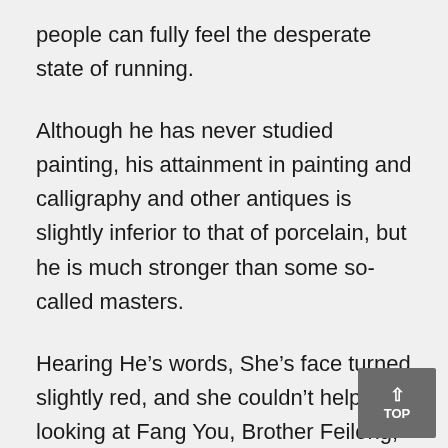people can fully feel the desperate state of running.
Although he has never studied painting, his attainment in painting and calligraphy and other antiques is slightly inferior to that of porcelain, but he is much stronger than some so-called masters.
Hearing He’s words, She’s face turned slightly red, and she couldn’t help looking at Fang You, Brother Feilong, what are we doing now? manage She’s peach-red and affectionate